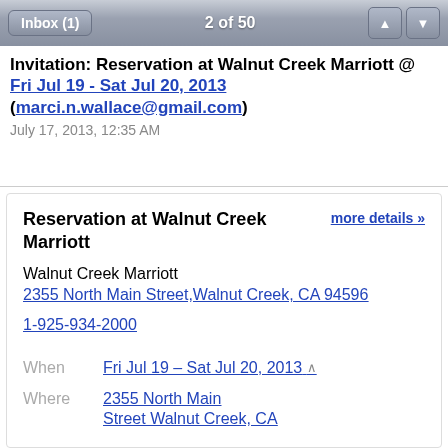Inbox (1)   2 of 50
Invitation: Reservation at Walnut Creek Marriott @ Fri Jul 19 - Sat Jul 20, 2013 (marci.n.wallace@gmail.com)
July 17, 2013, 12:35 AM
Reservation at Walnut Creek Marriott
more details »
Walnut Creek Marriott
2355 North Main Street,Walnut Creek, CA 94596
1-925-934-2000
When   Fri Jul 19 – Sat Jul 20, 2013
Where   2355 North Main Street Walnut Creek, CA